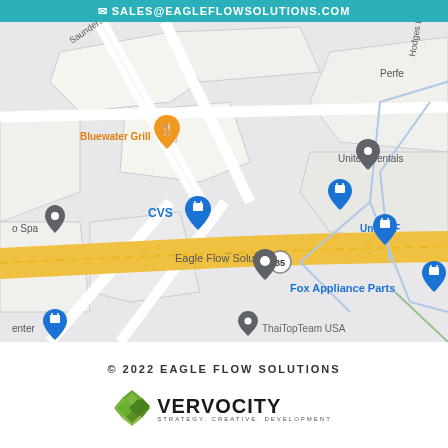SALES@EAGLEFLOWSOLUTIONS.COM
[Figure (map): Google Maps view showing Eagle Flow Solutions location near CVS, Bluewater Grill, United Rentals, Fox Appliance Parts, and highway 85. Streets include Saunders Dr and Hodges Dr.]
© 2022 EAGLE FLOW SOLUTIONS
[Figure (logo): Vervocity logo with diamond shape icon and text VERVOCITY, STRATEGY. CREATIVE. DEVELOPMENT.]